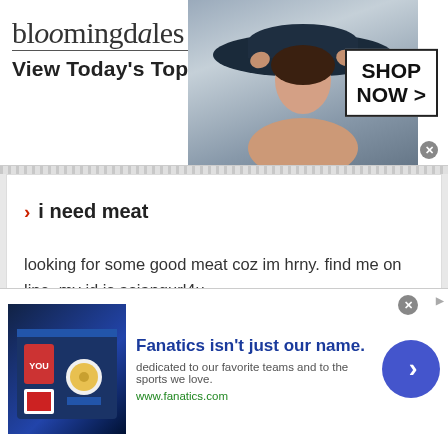[Figure (other): Bloomingdale's banner advertisement showing logo, 'View Today's Top Deals!' tagline, woman in wide-brim hat, and 'SHOP NOW >' button]
i need meat
looking for some good meat coz im hrny. find me on line. my id is asiangurl4u
READ MORE
SHARE
[Figure (other): Fanatics advertisement: 'Fanatics isn't just our name. dedicated to our favorite teams and to the sports we love. www.fanatics.com' with sports merchandise image and blue arrow button]